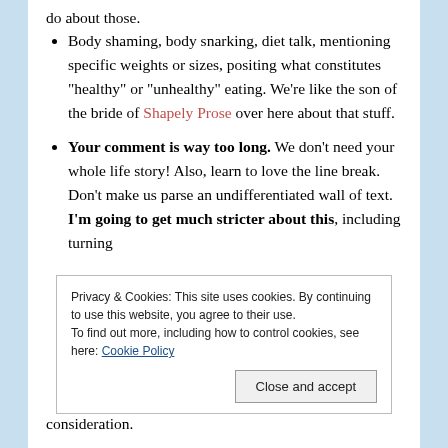do about those.
Body shaming, body snarking, diet talk, mentioning specific weights or sizes, positing what constitutes "healthy" or "unhealthy" eating. We're like the son of the bride of Shapely Prose over here about that stuff.
Your comment is way too long. We don't need your whole life story! Also, learn to love the line break. Don't make us parse an undifferentiated wall of text. I'm going to get much stricter about this, including turning
Privacy & Cookies: This site uses cookies. By continuing to use this website, you agree to their use.
To find out more, including how to control cookies, see here: Cookie Policy
Close and accept
consideration.